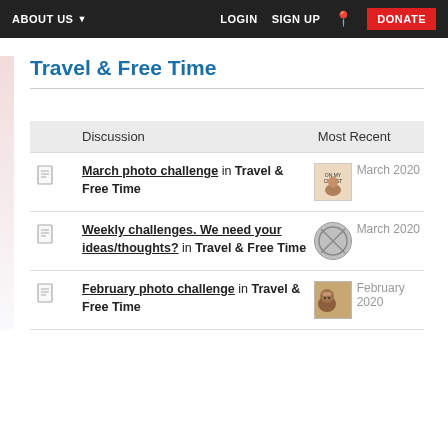ABOUT US  LOGIN  SIGN UP  DONATE
Travel & Free Time
| Discussion | Most Recent |
| --- | --- |
| March photo challenge in Travel & Free Time | March 2020 |
| Weekly challenges. We need your ideas/thoughts? in Travel & Free Time | March 2020 |
| February photo challenge in Travel & Free Time | February 2020 |